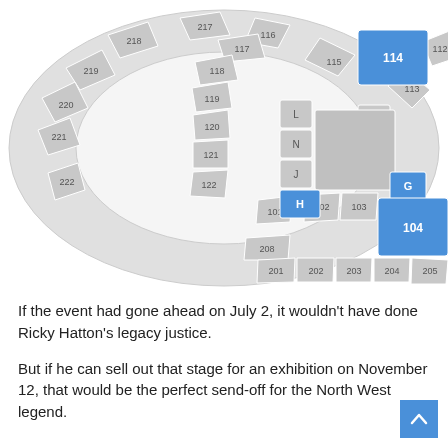[Figure (other): Arena seating map showing sections 101-222 and 201-208 plus floor sections H, G, E, F, J, L, N. Highlighted in blue: sections 114, 111, 108, 104, H, G.]
If the event had gone ahead on July 2, it wouldn't have done Ricky Hatton's legacy justice.
But if he can sell out that stage for an exhibition on November 12, that would be the perfect send-off for the North West legend.